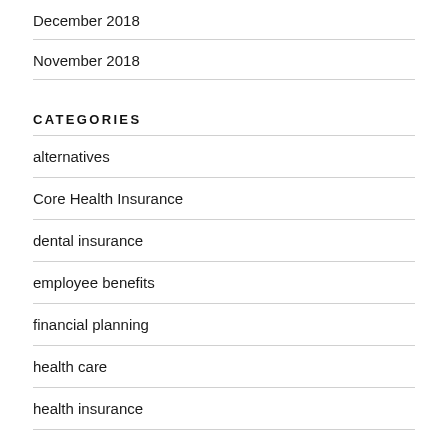December 2018
November 2018
CATEGORIES
alternatives
Core Health Insurance
dental insurance
employee benefits
financial planning
health care
health insurance